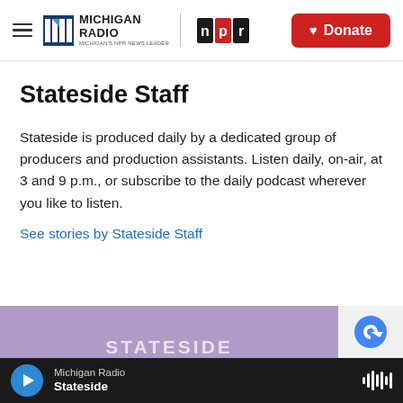Michigan Radio | NPR | Donate
Stateside Staff
Stateside is produced daily by a dedicated group of producers and production assistants. Listen daily, on-air, at 3 and 9 p.m., or subscribe to the daily podcast wherever you like to listen.
See stories by Stateside Staff
[Figure (screenshot): Partial advertisement banner with purple background and reCAPTCHA logo visible at right edge]
Michigan Radio | Stateside (audio player bar)